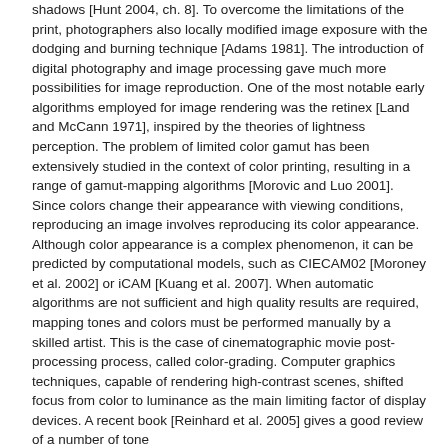shadows [Hunt 2004, ch. 8]. To overcome the limitations of the print, photographers also locally modified image exposure with the dodging and burning technique [Adams 1981]. The introduction of digital photography and image processing gave much more possibilities for image reproduction. One of the most notable early algorithms employed for image rendering was the retinex [Land and McCann 1971], inspired by the theories of lightness perception. The problem of limited color gamut has been extensively studied in the context of color printing, resulting in a range of gamut-mapping algorithms [Morovic and Luo 2001]. Since colors change their appearance with viewing conditions, reproducing an image involves reproducing its color appearance. Although color appearance is a complex phenomenon, it can be predicted by computational models, such as CIECAM02 [Moroney et al. 2002] or iCAM [Kuang et al. 2007]. When automatic algorithms are not sufficient and high quality results are required, mapping tones and colors must be performed manually by a skilled artist. This is the case of cinematographic movie post-processing process, called color-grading. Computer graphics techniques, capable of rendering high-contrast scenes, shifted focus from color to luminance as the main limiting factor of display devices. A recent book [Reinhard et al. 2005] gives a good review of a number of tone